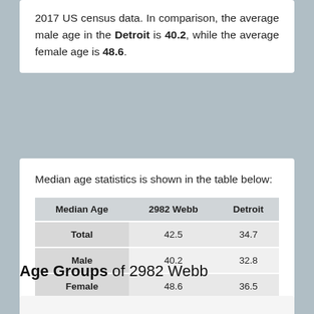2017 US census data. In comparison, the average male age in the Detroit is 40.2, while the average female age is 48.6.
Median age statistics is shown in the table below:
| Median Age | 2982 Webb | Detroit |
| --- | --- | --- |
| Total | 42.5 | 34.7 |
| Male | 40.2 | 32.8 |
| Female | 48.6 | 36.5 |
data source
Age Groups of 2982 Webb